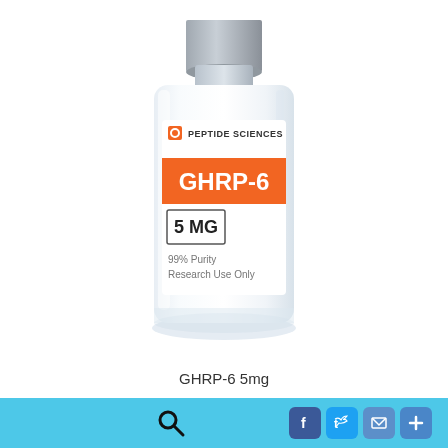[Figure (photo): A glass pharmaceutical vial with a metal cap. The label shows 'PEPTIDE SCIENCES' logo at top, an orange band with 'GHRP-6' in white bold text, a white box with '5 MG' in bold dark text, and below '99% Purity' and 'Research Use Only' in gray text.]
GHRP-6 5mg
[Figure (infographic): Light blue footer bar with a black magnifying glass search icon on the left-center and four social media icons on the right: Facebook (blue), Twitter (blue), Email (blue envelope), and a plus/add button.]